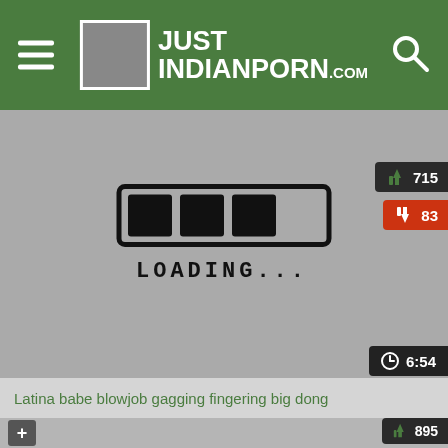JUST INDIANPORN.com
[Figure (screenshot): Video loading placeholder with a loading bar graphic and text LOADING... on a gray background]
715
83
6:54
Latina babe blowjob gagging fingering big dong
895
49